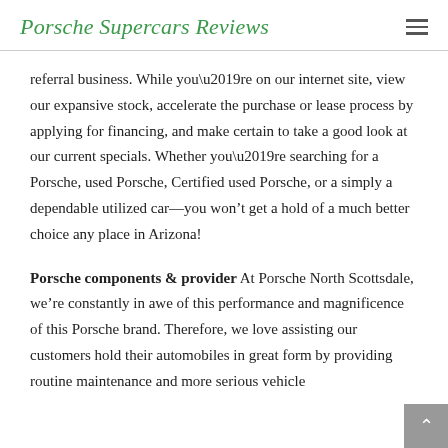Porsche Supercars Reviews
referral business. While you’re on our internet site, view our expansive stock, accelerate the purchase or lease process by applying for financing, and make certain to take a good look at our current specials. Whether you’re searching for a Porsche, used Porsche, Certified used Porsche, or a simply a dependable utilized car—you won’t get a hold of a much better choice any place in Arizona!
Porsche components & provider At Porsche North Scottsdale, we’re constantly in awe of this performance and magnificence of this Porsche brand. Therefore, we love assisting our customers hold their automobiles in great form by providing routine maintenance and more serious vehicle